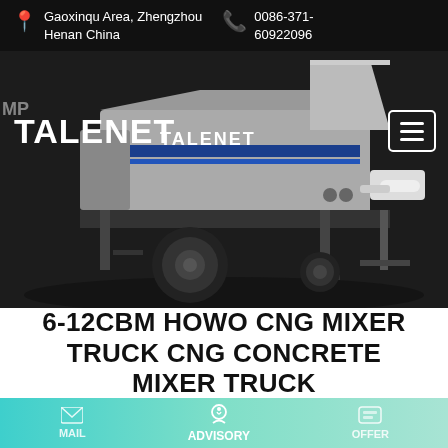Gaoxinqu Area, Zhengzhou Henan China | 0086-371-60922096
[Figure (photo): TALENET branded concrete pump/mixer truck on dark background, gray colored vehicle with blue stripe logo, large wheel visible, white pump outlet on right side.]
TALENET
6-12CBM HOWO CNG MIXER TRUCK CNG CONCRETE MIXER TRUCK
MAIL | ADVISORY | OFFER